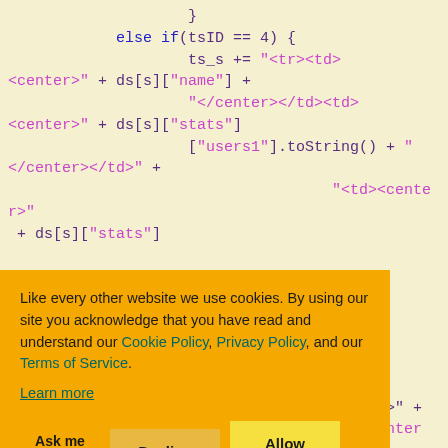[Figure (screenshot): Code snippet showing JavaScript with HTML string concatenation, variable assignments with ts_s, ds[s]['name'], ds[s]['stats']['users1'], ds[s]['stats']['users2'] with HTML tags like <tr><td><center>, </center></td><td><center>, etc. Code shown on a pale yellow background with blue keywords and purple/magenta strings.]
Like every other website we use cookies. By using our site you acknowledge that you have read and understand our Cookie Policy, Privacy Policy, and our Terms of Service. Learn more